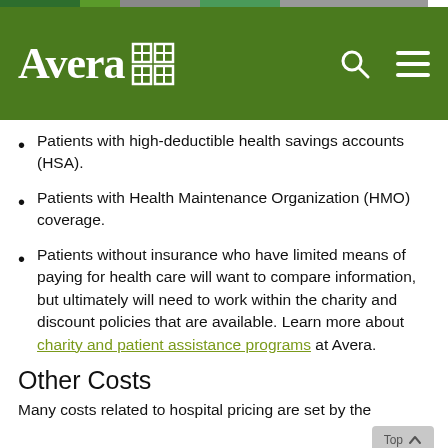Avera
Patients with high-deductible health savings accounts (HSA).
Patients with Health Maintenance Organization (HMO) coverage.
Patients without insurance who have limited means of paying for health care will want to compare information, but ultimately will need to work within the charity and discount policies that are available. Learn more about charity and patient assistance programs at Avera.
Other Costs
Many costs related to hospital pricing are set by the